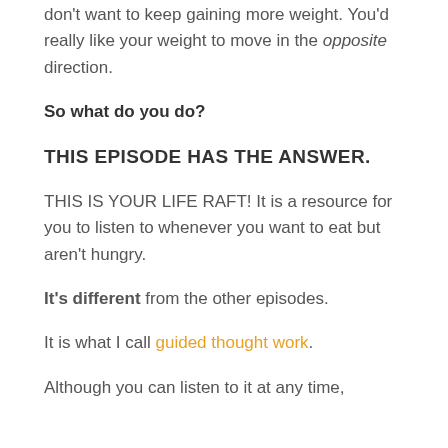don't want to keep gaining more weight. You'd really like your weight to move in the opposite direction.
So what do you do?
THIS EPISODE HAS THE ANSWER.
THIS IS YOUR LIFE RAFT! It is a resource for you to listen to whenever you want to eat but aren't hungry.
It's different from the other episodes.
It is what I call guided thought work.
Although you can listen to it at any time,